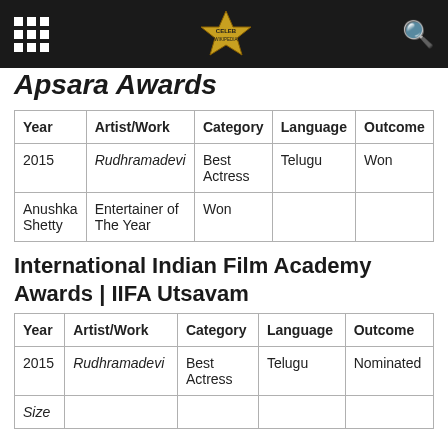Celeb Wikipedia
Apsara Awards
| Year | Artist/Work | Category | Language | Outcome |
| --- | --- | --- | --- | --- |
| 2015 | Rudhramadevi | Best Actress | Telugu | Won |
| Anushka Shetty | Entertainer of The Year | Won |  |  |
International Indian Film Academy Awards | IIFA Utsavam
| Year | Artist/Work | Category | Language | Outcome |
| --- | --- | --- | --- | --- |
| 2015 | Rudhramadevi | Best Actress | Telugu | Nominated |
| Size |  |  |  |  |